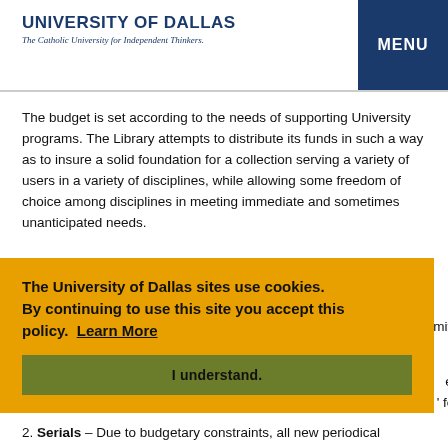UNIVERSITY OF DALLAS — The Catholic University for Independent Thinkers. | MENU
The budget is set according to the needs of supporting University programs. The Library attempts to distribute its funds in such a way as to insure a solid foundation for a collection serving a variety of users in a variety of disciplines, while allowing some freedom of choice among disciplines in meeting immediate and sometimes unanticipated needs.
The University of Dallas sites use cookies. By continuing to use this site you accept this policy. Learn More
I understand.
2. Serials – Due to budgetary constraints, all new periodical subscriptions must be approved by the Dean of the…